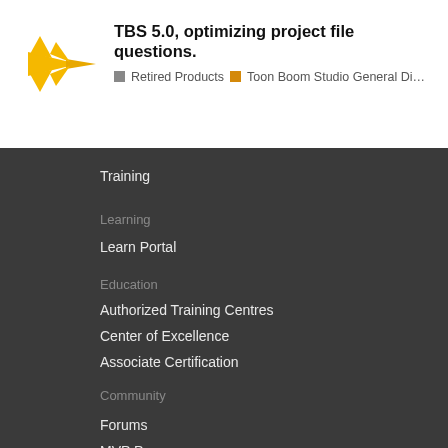[Figure (logo): Toon Boom logo: yellow starburst/arrow shape on white background]
TBS 5.0, optimizing project file questions.
Retired Products  Toon Boom Studio General Di...
Training
Learning
Learn Portal
Education
Authorized Training Centres
Center of Excellence
Associate Certification
Community
Forums
MVP Program